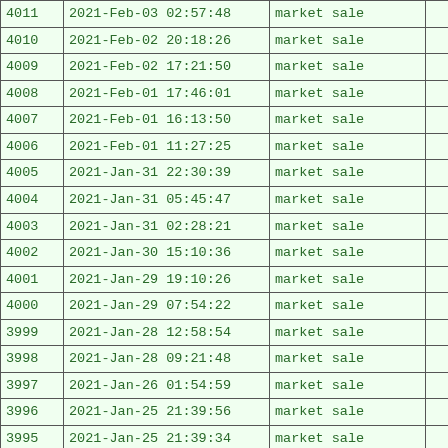| 4011 | 2021-Feb-03 02:57:48 | market sale |  |
| 4010 | 2021-Feb-02 20:18:26 | market sale |  |
| 4009 | 2021-Feb-02 17:21:50 | market sale |  |
| 4008 | 2021-Feb-01 17:46:01 | market sale |  |
| 4007 | 2021-Feb-01 16:13:50 | market sale |  |
| 4006 | 2021-Feb-01 11:27:25 | market sale |  |
| 4005 | 2021-Jan-31 22:30:39 | market sale |  |
| 4004 | 2021-Jan-31 05:45:47 | market sale |  |
| 4003 | 2021-Jan-31 02:28:21 | market sale |  |
| 4002 | 2021-Jan-30 15:10:36 | market sale |  |
| 4001 | 2021-Jan-29 19:10:26 | market sale |  |
| 4000 | 2021-Jan-29 07:54:22 | market sale |  |
| 3999 | 2021-Jan-28 12:58:54 | market sale |  |
| 3998 | 2021-Jan-28 09:21:48 | market sale |  |
| 3997 | 2021-Jan-26 01:54:59 | market sale |  |
| 3996 | 2021-Jan-25 21:39:56 | market sale |  |
| 3995 | 2021-Jan-25 21:39:34 | market sale |  |
|  |  |  |  |